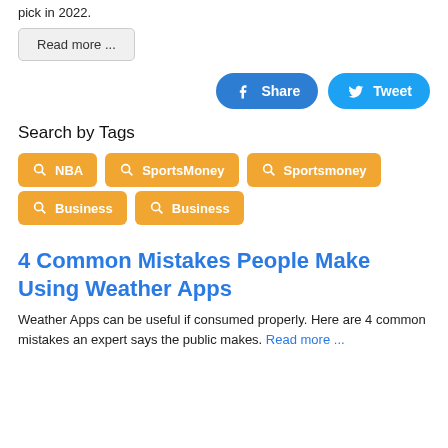pick in 2022.
Read more ...
[Figure (other): Facebook Share button and Twitter Tweet button]
Search by Tags
[Figure (other): Tag buttons: NBA, SportsMoney, Sportsmoney, Business, Business]
4 Common Mistakes People Make Using Weather Apps
Weather Apps can be useful if consumed properly. Here are 4 common mistakes an expert says the public makes. Read more ...